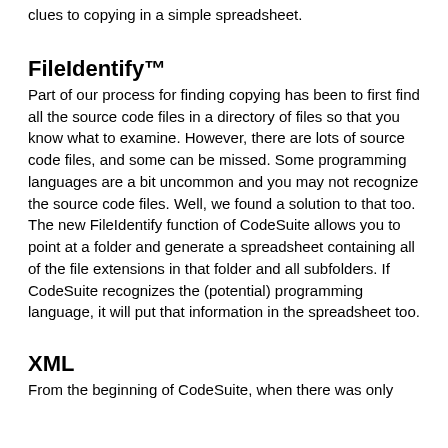clues to copying in a simple spreadsheet.
FileIdentify™
Part of our process for finding copying has been to first find all the source code files in a directory of files so that you know what to examine. However, there are lots of source code files, and some can be missed. Some programming languages are a bit uncommon and you may not recognize the source code files. Well, we found a solution to that too. The new FileIdentify function of CodeSuite allows you to point at a folder and generate a spreadsheet containing all of the file extensions in that folder and all subfolders. If CodeSuite recognizes the (potential) programming language, it will put that information in the spreadsheet too.
XML
From the beginning of CodeSuite, when there was only